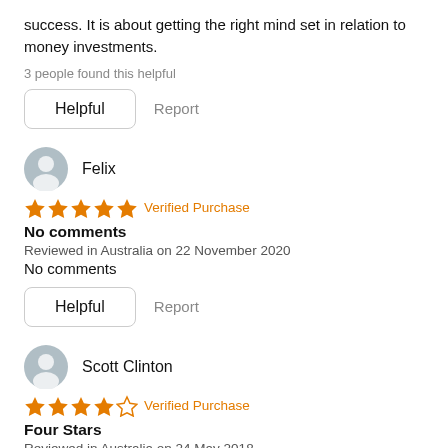success. It is about getting the right mind set in relation to money investments.
3 people found this helpful
Helpful   Report
Felix
★★★★★ Verified Purchase
No comments
Reviewed in Australia on 22 November 2020
No comments
Helpful   Report
Scott Clinton
★★★★☆ Verified Purchase
Four Stars
Reviewed in Australia on 24 May 2018